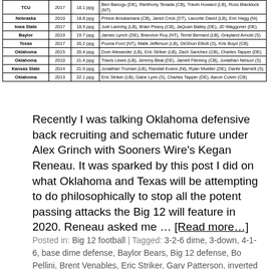| Team | Year | Avg Pts Allowed | Notable Departures |
| --- | --- | --- | --- |
| TCU | 2017 | 18.1 ppg | Ben Banogu (DE), Ranthony Texada (CB), Travin Howard (LB), Ross Blacklock (NT) |
| Nebraska | 2010 | 18.8 ppg | Prince Amukamara (CB), Jared Crick (DT), Lavonte David (LB), Eric Hagg (Ni) |
| Iowa State | 2017 | 18.9 ppg | Joel Lanning (LB), Brian Peavy (CB), JaQuan Bailey (DE), JD Waggoner (DE) |
| Baylor | 2019 | 19.7 ppg | James Lynch (DE), Bravvion Roy (NT), Terrel Bernard (LB), Grayland Arnold (S) |
| Texas | 2017 | 20.2 ppg | Poona Ford (NT), Malik Jefferson (LB), DeShon Elliott (S), Kris Boyd (CB) |
| Oklahoma | 2015 | 20.4 ppg | Dom Alexander (LB), Eric Striker (LB), Zach Sanchez (CB), Charles Tapper (DE) |
| Oklahoma | 2010 | 21.4 ppg | Travis Lewis (LB), Jeremy Beal (DE), Jamell Fleming (CB), Jonathan Nelson (S) |
| Kansas State | 2014 | 21.9 ppg | Jonathan Truman (LB), Randall Evans (Ni), Ryan Mueller (DE), Dante Barnett (S) |
| Oklahoma | 2013 | 22.1 ppg | Eric Striker (LB), Gabe Lynn (S), Charles Tapper (DE), Aaron Colvin (CB) |
Recently I was talking Oklahoma defensive back recruiting and schematic future under Alex Grinch with Sooners Wire's Kegan Reneau. It was sparked by this post I did on what Oklahoma and Texas will be attempting to do philosophically to stop all the potent passing attacks the Big 12 will feature in 2020. Reneau asked me … [Read more…]
Posted in: Big 12 football | Tagged: 3-2-6 dime, 3-down, 4-1-6, base dime defense, Baylor Bears, Big 12 defense, Bo Pellini, Brent Venables, Eric Striker, Gary Patterson, inverted Tampa 2,